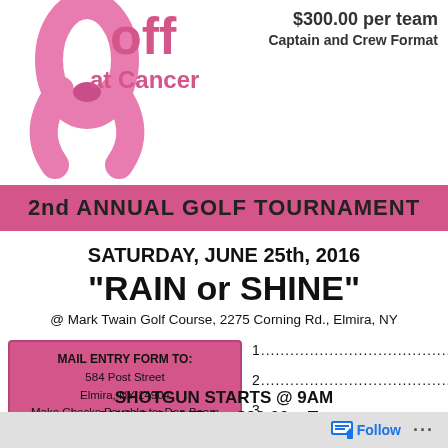[Figure (illustration): Pink breast cancer awareness ribbon on left side of header area]
$300.00 per team
Captain and Crew Format
2nd ANNUAL GOLF TOURNAMENT
SATURDAY, JUNE 25th, 2016
"RAIN or SHINE"
@ Mark Twain Golf Course, 2275 Corning Rd., Elmira, NY
MAIL ENTRY FORM TO:
584 Post Street
Elmira, NY 14904
Make Checks Payable to: Dan Beam
Any Questions Please Contact:
Dan Beam @ 607-426-7769
1....................................................
2....................................................
3....................................................
4....................................................
SHOTGUN STARTS @ 9AM
SKINS GAME for $20.00 a Team
Follow